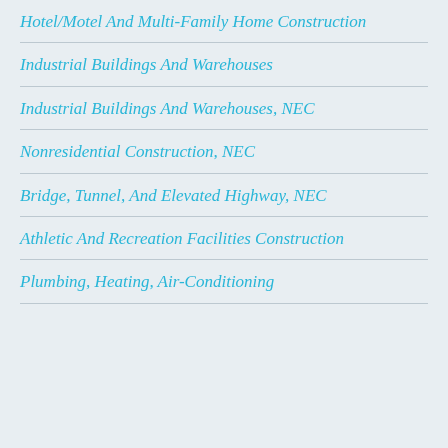Hotel/Motel And Multi-Family Home Construction
Industrial Buildings And Warehouses
Industrial Buildings And Warehouses, NEC
Nonresidential Construction, NEC
Bridge, Tunnel, And Elevated Highway, NEC
Athletic And Recreation Facilities Construction
Plumbing, Heating, Air-Conditioning